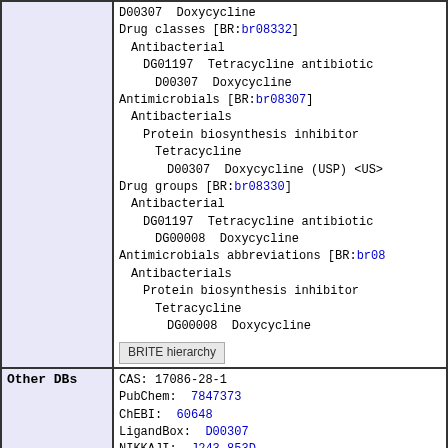| Field | Content |
| --- | --- |
| (BRITE hierarchy continued) | D00307  Doxycycline
Drug classes [BR:br08332]
 Antibacterial
  DG01197  Tetracycline antibiotic
    D00307  Doxycycline
Antimicrobials [BR:br08307]
 Antibacterials
  Protein biosynthesis inhibitor
   Tetracycline
    D00307  Doxycycline (USP) <US>
Drug groups [BR:br08330]
 Antibacterial
  DG01197  Tetracycline antibiotic
   DG00008  Doxycycline
Antimicrobials abbreviations [BR:br08...
 Antibacterials
  Protein biosynthesis inhibitor
   Tetracycline
    DG00008  Doxycycline
[BRITE hierarchy] |
| Other DBs | CAS: 17086-28-1
PubChem: 7847373
ChEBI: 60648
LigandBox: D00307
NIKKAJI: J243.853D |
| KCF data | [Show] |